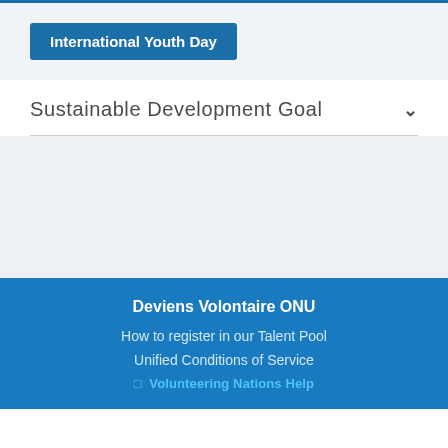International Youth Day
Sustainable Development Goal
Deviens Volontaire ONU
How to register in our Talent Pool
Unified Conditions of Service